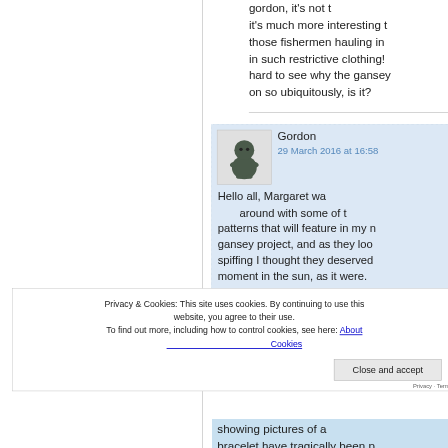it's much more interesting t those fishermen hauling in in such restrictive clothing! hard to see why the gansey on so ubiquitously, is it?
Gordon
29 March 2016 at 16:58
Hello all, Margaret wa around with some of t patterns that will feature in my n gansey project, and as they loo spiffing I thought they deserved moment in the sun, as it were.
Privacy & Cookies: This site uses cookies. By continuing to use this website, you agree to their use.
To find out more, including how to control cookies, see here: About Cookies
Close and accept
showing pictures of a bracelet have tragically been p